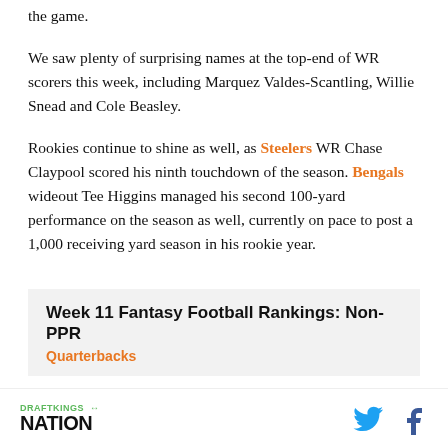the game.
We saw plenty of surprising names at the top-end of WR scorers this week, including Marquez Valdes-Scantling, Willie Snead and Cole Beasley.
Rookies continue to shine as well, as Steelers WR Chase Claypool scored his ninth touchdown of the season. Bengals wideout Tee Higgins managed his second 100-yard performance on the season as well, currently on pace to post a 1,000 receiving yard season in his rookie year.
Week 11 Fantasy Football Rankings: Non-PPR
Quarterbacks
DRAFTKINGS NATION